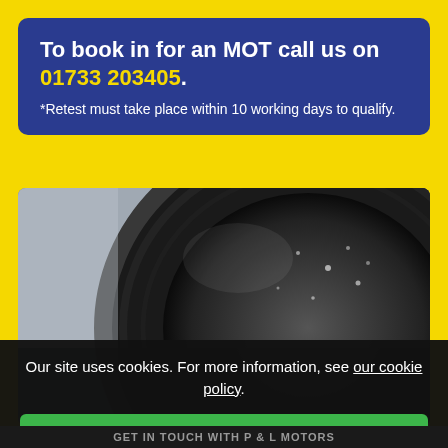To book in for an MOT call us on 01733 203405. *Retest must take place within 10 working days to qualify.
[Figure (photo): Close-up photo of a car tyre, showing tread detail with water droplets, dark tones with blurred background.]
Our site uses cookies. For more information, see our cookie policy.
Accept cookies and close
Reject cookies
Manage settings
GET IN TOUCH WITH P & L MOTORS